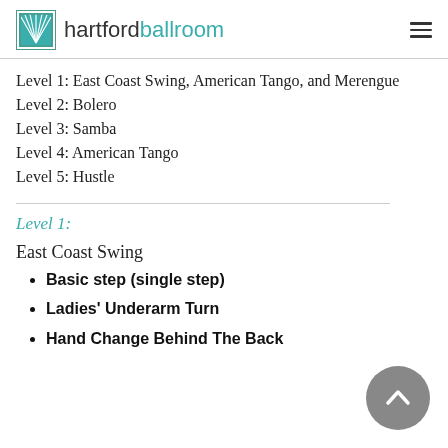hartfordballroom
Level 1: East Coast Swing, American Tango, and Merengue
Level 2: Bolero
Level 3: Samba
Level 4: American Tango
Level 5: Hustle
Level 1:
East Coast Swing
Basic step (single step)
Ladies' Underarm Turn
Hand Change Behind The Back